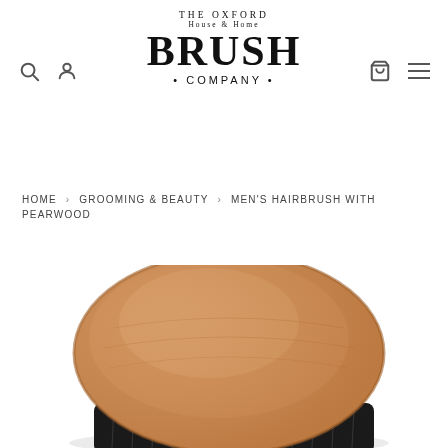THE OXFORD HOUSE & HOME BRUSH COMPANY
HOME > GROOMING & BEAUTY > MEN'S HAIRBRUSH WITH PEARWOOD
[Figure (photo): A men's oval-shaped hairbrush with a medium-brown pearwood back and dark natural bristles, photographed from above at a slight angle, showing the smooth wooden surface and bristles at the bottom edge.]